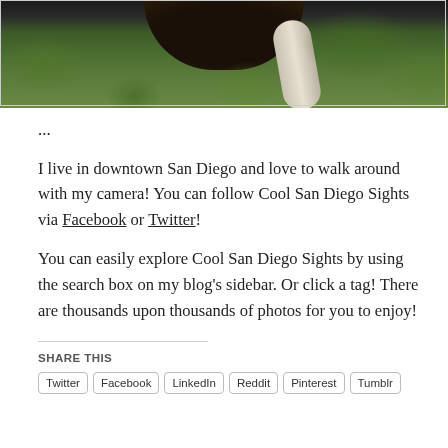[Figure (photo): Outdoor photo showing underside of a dark rounded object (possibly a sculpture or bell) with a curved white/grey pipe and green trees/foliage in the background]
...
I live in downtown San Diego and love to walk around with my camera! You can follow Cool San Diego Sights via Facebook or Twitter!
You can easily explore Cool San Diego Sights by using the search box on my blog’s sidebar. Or click a tag! There are thousands upon thousands of photos for you to enjoy!
SHARE THIS
Twitter
Facebook
LinkedIn
Reddit
Pinterest
Tumblr